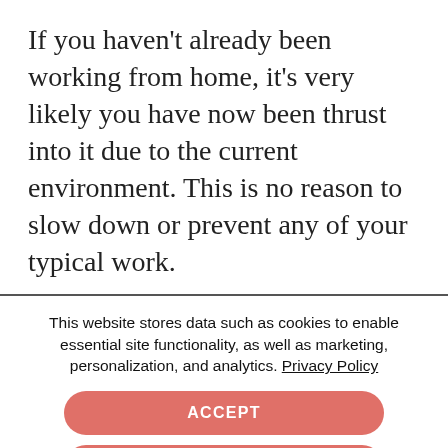If you haven't already been working from home, it's very likely you have now been thrust into it due to the current environment. This is no reason to slow down or prevent any of your typical work.
It will be an adjustment period, but the tools exist to help your team continue to work effectively from their own devices.
This website stores data such as cookies to enable essential site functionality, as well as marketing, personalization, and analytics. Privacy Policy
ACCEPT
DENY